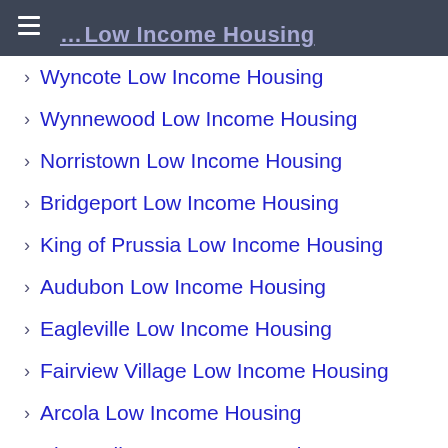... Low Income Housing
Wyncote Low Income Housing
Wynnewood Low Income Housing
Norristown Low Income Housing
Bridgeport Low Income Housing
King of Prussia Low Income Housing
Audubon Low Income Housing
Eagleville Low Income Housing
Fairview Village Low Income Housing
Arcola Low Income Housing
Blue Bell Low Income Housing